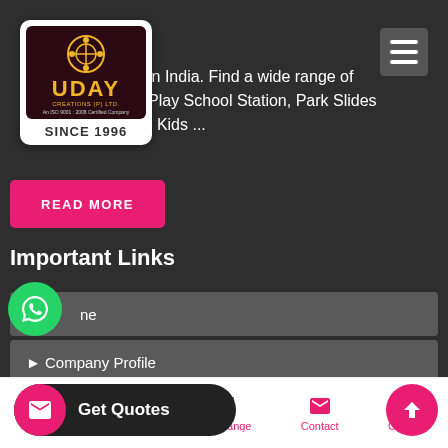[Figure (logo): Uday Creations (P) Ltd logo - dark maroon box with gold UDAY text and geometric icon, Since 1996]
[Figure (other): Hamburger menu icon (three horizontal lines) on grey background]
in India. Find a wide range of Play School Station, Park Slides , Kids ...
[Figure (other): READ MORE pink button]
Important Links
Home
Company Profile
[Figure (other): WhatsApp floating button (green circle with WhatsApp icon)]
[Figure (other): Get Quotes popup with email icon and text]
[Figure (other): Scroll to top pink circle button with up arrow]
Home   About Us   Our Range   Contact   Call Us